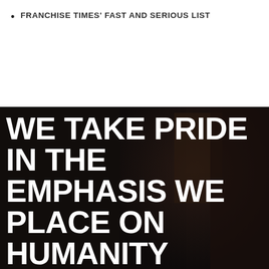FRANCHISE TIMES' FAST AND SERIOUS LIST
[Figure (photo): Dark background photo of an interior space with shadowy shapes, used as a background for a large white bold quote text overlay.]
WE TAKE PRIDE IN THE EMPHASIS WE PLACE ON HUMANITY